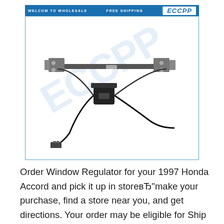[Figure (photo): ECCPP branded product listing image showing a window regulator assembly with motor, cables, and mounting hardware on white background with ECCPP logo banner at top]
Order Window Regulator for your 1997 Honda Accord and pick it up in storeвЂmake your purchase, find a store near you, and get directions. Your order may be eligible for Ship to